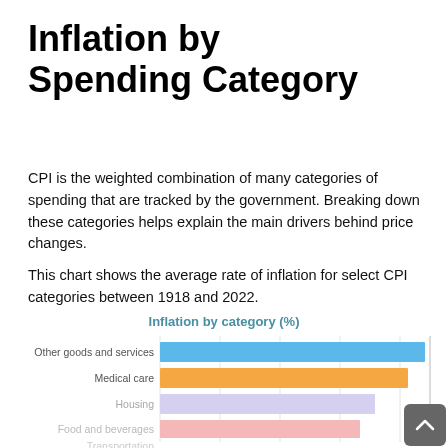Inflation by Spending Category
CPI is the weighted combination of many categories of spending that are tracked by the government. Breaking down these categories helps explain the main drivers behind price changes.
This chart shows the average rate of inflation for select CPI categories between 1918 and 2022.
[Figure (bar-chart): Inflation by category (%)]